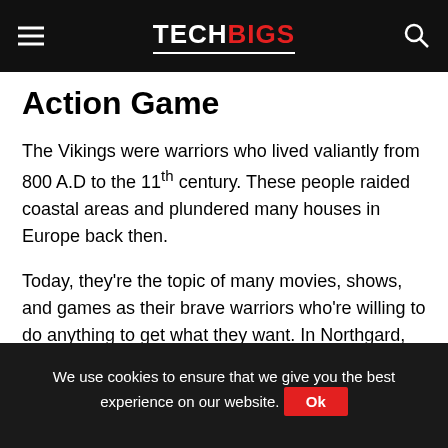TECHBIGS
Action Game
The Vikings were warriors who lived valiantly from 800 A.D to the 11th century. These people raided coastal areas and plundered many houses in Europe back then.
Today, they're the topic of many movies, shows, and games as their brave warriors who're willing to do anything to get what they want. In Northgard, you can enjoy a game where you'll lead a clan of Vikings where you can settle and fight for a new continent.
We use cookies to ensure that we give you the best experience on our website. Ok